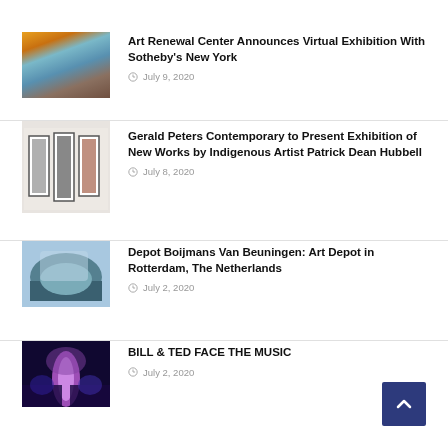[Figure (photo): Landscape painting with sunset, cliffs near water]
Art Renewal Center Announces Virtual Exhibition With Sotheby's New York
July 9, 2020
[Figure (photo): Art gallery installation with framed artworks of figures]
Gerald Peters Contemporary to Present Exhibition of New Works by Indigenous Artist Patrick Dean Hubbell
July 8, 2020
[Figure (photo): Aerial view of a large building complex in Rotterdam]
Depot Boijmans Van Beuningen: Art Depot in Rotterdam, The Netherlands
July 2, 2020
[Figure (photo): Movie poster for Bill & Ted Face the Music with two figures facing a glowing portal]
BILL & TED FACE THE MUSIC
July 2, 2020